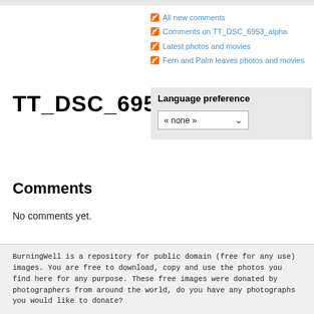All new comments
Comments on TT_DSC_6953_alpha
Latest photos and movies
Fern and Palm leaves photos and movies
TT_DSC_6953_alpha
Language preference
« none »
Comments
No comments yet.
BurningWell is a repository for public domain (free for any use) images. You are free to download, copy and use the photos you find here for any purpose. These free images were donated by photographers from around the world, do you have any photographs you would like to donate?